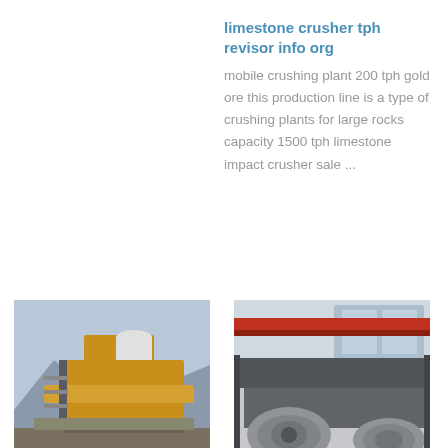limestone crusher tph revisor info org
mobile crushing plant 200 tph gold ore this production line is a type of crushing plants for large rocks capacity 1500 tph limestone impact crusher sale ...
[Figure (photo): Outdoor photo of a mobile limestone crushing plant with yellow/orange machinery against a mountain backdrop]
[Figure (photo): Indoor industrial photo of a Striker Impactor crusher in a factory/warehouse with red overhead crane and large motors]
40 tph Mobile Limestone Crushing Plant
Striker Impactor crushing limestone YouTube